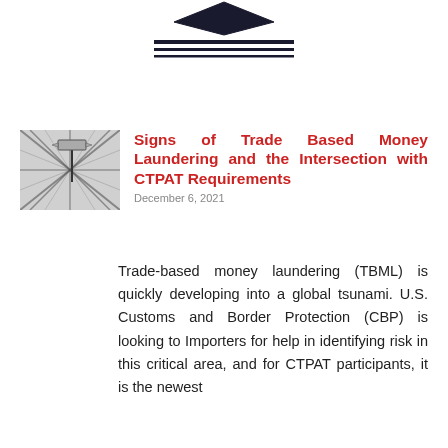[Figure (logo): Logo with horizontal lines and arrow/chevron shape at top of page]
[Figure (illustration): Grayscale illustration showing an aerial view of intersecting roads/crossroads with a signpost]
Signs of Trade Based Money Laundering and the Intersection with CTPAT Requirements
December 6, 2021
Trade-based money laundering (TBML) is quickly developing into a global tsunami. U.S. Customs and Border Protection (CBP) is looking to Importers for help in identifying risk in this critical area, and for CTPAT participants, it is the newest